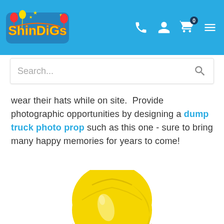[Figure (screenshot): Shindigs website header with logo on left and navigation icons (phone, user, cart with 0 badge, menu) on right, blue background]
[Figure (screenshot): Search bar with placeholder text 'Search...' and search icon on the right]
wear their hats while on site.  Provide photographic opportunities by designing a dump truck photo prop such as this one - sure to bring many happy memories for years to come!
[Figure (photo): Yellow construction hard hat / helmet shown from above, partially cropped at bottom of page]